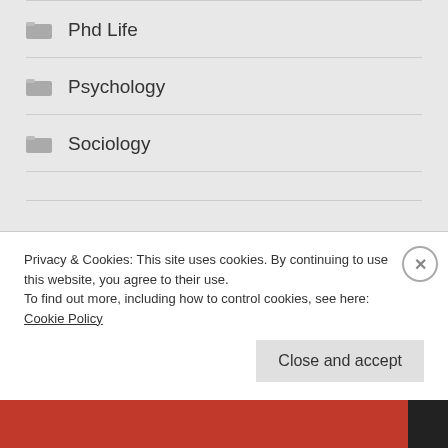Phd Life
Psychology
Sociology
ARCHIVES
January 2022 (1)
December 2021 (1)
Privacy & Cookies: This site uses cookies. By continuing to use this website, you agree to their use.
To find out more, including how to control cookies, see here: Cookie Policy
Close and accept